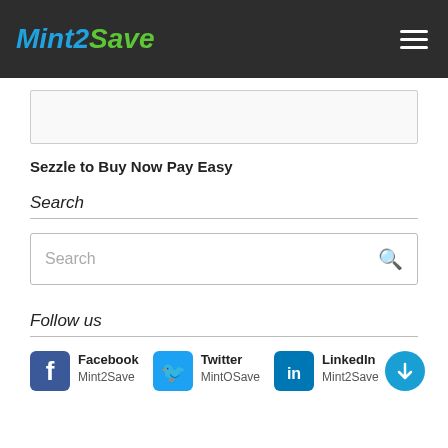Mint2Save
Sezzle to Buy Now Pay Easy
Search
Search
Follow us
Facebook Mint2Save
Twitter MintOSave
LinkedIn Mint2Save